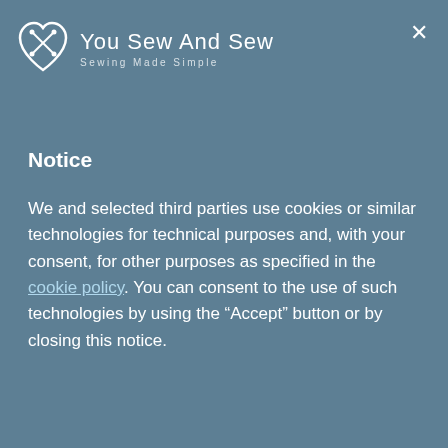[Figure (logo): You Sew And Sew logo with icon and text 'Sewing Made Simple']
Notice
We and selected third parties use cookies or similar technologies for technical purposes and, with your consent, for other purposes as specified in the cookie policy. You can consent to the use of such technologies by using the “Accept” button or by closing this notice.
Accept
Learn more and customize
PET polyester materials are made from